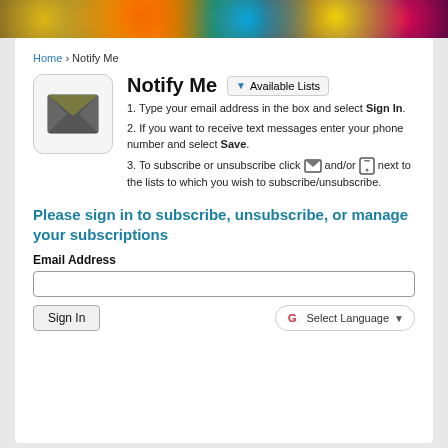[Figure (photo): Colorful banner image with neon lights and entertainment graphics at the top of the page]
Home › Notify Me
[Figure (illustration): Email envelope icon in a rounded rectangle box]
Notify Me
Available Lists (dropdown button)
1. Type your email address in the box and select Sign In.
2. If you want to receive text messages enter your phone number and select Save.
3. To subscribe or unsubscribe click [email icon] and/or [phone icon] next to the lists to which you wish to subscribe/unsubscribe.
Please sign in to subscribe, unsubscribe, or manage your subscriptions
Email Address
Sign In
Select Language